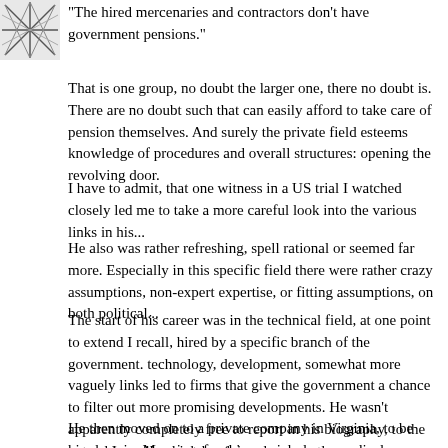[Figure (logo): Abstract geometric logo with intersecting lines forming a star/web pattern]
"The hired mercenaries and contractors don't have government pensions."
That is one group, no doubt the larger one, there no doubt is. There are no doubt such that can easily afford to take care of pension themselves. And surely the private field esteems knowledge of procedures and overall structures: opening the revolving door.
I have to admit, that one witness in a US trial I watched closely led me to take a more careful look into the various links in his...
He also was rather refreshing, spell rational or seemed far more. Especially in this specific field there were rather crazy assumptions, non-expert expertise, or fitting assumptions, on both political...
The start of his career was in the technical field, at one point to extend I recall, hired by a specific branch of the government. technology, development, somewhat more vaguely links led to firms that give the government a chance to filter out more promising developments. He wasn't apparently completely free to report in his biography, to the extend I recall, which he claimed was partly...
He then moved on to a private company in Virginia, to be hired again. Meaning, for this special player medical care or pension...